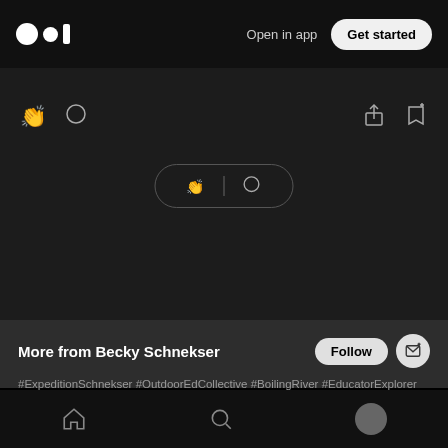Open in app  Get started
[Figure (screenshot): Medium app UI showing action icons (clap, comment, share, bookmark) and a pill-shaped interaction bar]
More from Becky Schnekser
#ExpeditionSchnekser #OutdoorEdCollective #BoilingRiver #EducatorExplorer she/her #scitlap Founder @OutdoorEdColl National Geographic Grantee
Home  Search  Profile